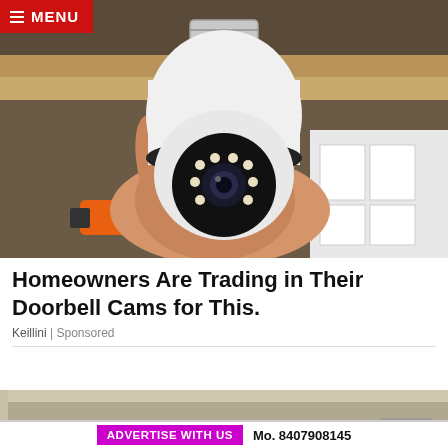MENU
[Figure (photo): A hand holding a white light-bulb-shaped security camera with a screw base and visible LED ring around the lens, set against a shelf background with boxes.]
Homeowners Are Trading in Their Doorbell Cams for This.
Keillini | Sponsored
[Figure (photo): A partial view of a room corner showing ceiling and walls in a beige/gray tone, with a small white device visible at the bottom.]
ADVERTISE WITH US  Mo. 8407908145